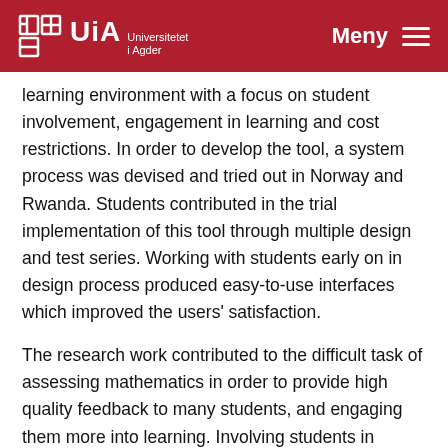UiA Universitetet i Agder | Meny
learning environment with a focus on student involvement, engagement in learning and cost restrictions. In order to develop the tool, a system process was devised and tried out in Norway and Rwanda. Students contributed in the trial implementation of this tool through multiple design and test series. Working with students early on in design process produced easy-to-use interfaces which improved the users' satisfaction.
The research work contributed to the difficult task of assessing mathematics in order to provide high quality feedback to many students, and engaging them more into learning. Involving students in